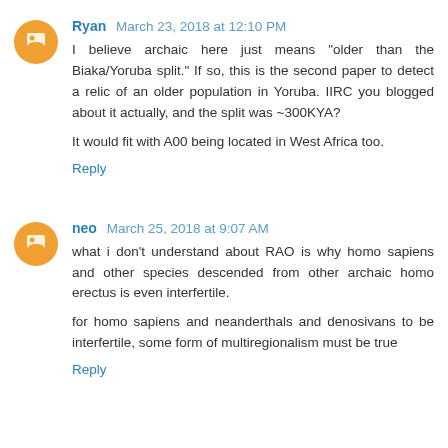Ryan March 23, 2018 at 12:10 PM
I believe archaic here just means "older than the Biaka/Yoruba split." If so, this is the second paper to detect a relic of an older population in Yoruba. IIRC you blogged about it actually, and the split was ~300KYA?

It would fit with A00 being located in West Africa too.
Reply
neo March 25, 2018 at 9:07 AM
what i don't understand about RAO is why homo sapiens and other species descended from other archaic homo erectus is even interfertile.

for homo sapiens and neanderthals and denosivans to be interfertile, some form of multiregionalism must be true
Reply